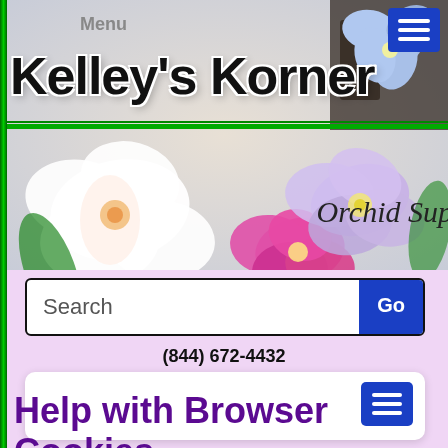[Figure (screenshot): Kelley's Korner Orchid Supplies website header with orchid flower banner, logo text, menu button, search bar, phone number, navigation card, and page title 'Help with Browser Cookies']
Menu
Kelley's Korner
Orchid Sup
Search
(844) 672-4432
Help with Browser Cookies